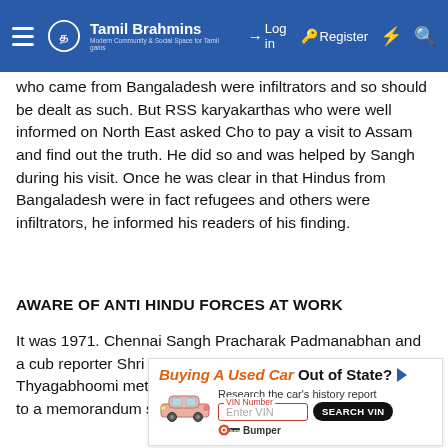Tamil Brahmins — Navigation bar with Log in, Register, and search icons
who came from Bangaladesh were infiltrators and so should be dealt as such. But RSS karyakarthas who were well informed on North East asked Cho to pay a visit to Assam and find out the truth. He did so and was helped by Sangh during his visit. Once he was clear in that Hindus from Bangaladesh were in fact refugees and others were infiltrators, he informed his readers of his finding.
AWARE OF ANTI HINDU FORCES AT WORK
It was 1971. Chennai Sangh Pracharak Padmanabhan and a cub reporter Shri Mahadevan from the Sangh weekly Thyagabhoomi met Cho in his office to secure his signature to a memorandum seeking a government ban on a declared
[Figure (infographic): Advertisement banner: 'Buying A Used Car Out of State?' with Bumper VIN check service. Shows a car illustration, 'Research the car's history report', VIN Number input field, and SEARCH VIN button. Bumper logo at bottom.]